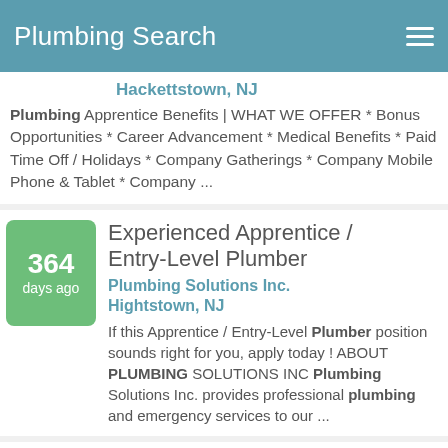Plumbing Search
Hackettstown, NJ
Plumbing Apprentice Benefits | WHAT WE OFFER * Bonus Opportunities * Career Advancement * Medical Benefits * Paid Time Off / Holidays * Company Gatherings * Company Mobile Phone & Tablet * Company ...
364 days ago — Experienced Apprentice / Entry-Level Plumber — Plumbing Solutions Inc. — Hightstown, NJ — If this Apprentice / Entry-Level Plumber position sounds right for you, apply today ! ABOUT PLUMBING SOLUTIONS INC Plumbing Solutions Inc. provides professional plumbing and emergency services to our ...
Residential Plumber (partial)